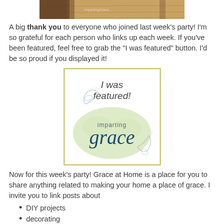[Figure (photo): Partial top image showing a room interior, cropped at top of page]
A big thank you to everyone who joined last week's party! I'm so grateful for each person who links up each week. If you've been featured, feel free to grab the "I was featured" button. I'd be so proud if you displayed it!
[Figure (logo): I was featured! Imparting Grace badge/button with decorative flourishes on a light green cloud shape inside a yellow-green border]
Now for this week's party! Grace at Home is a place for you to share anything related to making your home a place of grace. I invite you to link posts about
DIY projects
decorating